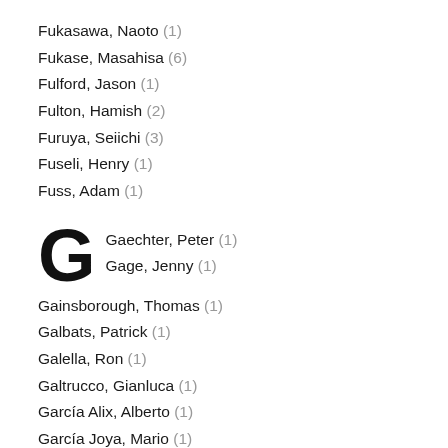Fukasawa, Naoto (1)
Fukase, Masahisa (6)
Fulford, Jason (1)
Fulton, Hamish (2)
Furuya, Seiichi (3)
Fuseli, Henry (1)
Fuss, Adam (1)
Gaechter, Peter (1)
Gage, Jenny (1)
Gainsborough, Thomas (1)
Galbats, Patrick (1)
Galella, Ron (1)
Galtrucco, Gianluca (1)
García Alix, Alberto (1)
García Joya, Mario (1)
Gardner, Alexander (1)
Gätzschmann, Roland (3)
Gau, Uta-Katharina (1)